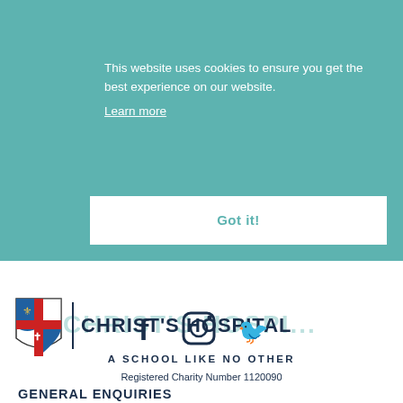This website uses cookies to ensure you get the best experience on our website.
Learn more
Got it!
[Figure (logo): Christ's Hospital school shield logo with cross and heraldic symbols, next to the text CHRIST'S HOSPITAL]
A SCHOOL LIKE NO OTHER
Registered Charity Number 1120090
[Figure (other): Social media icons: Facebook, Instagram, Twitter]
GENERAL ENQUIRIES